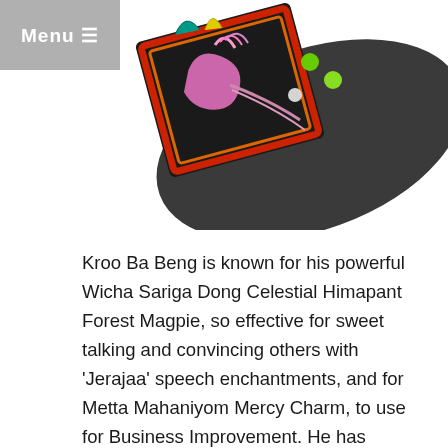[Figure (photo): A decorative Thai amulet box with colorful bird/magpie figures on a dark stone-like base, with jewel embellishments]
Kroo Ba Beng is known for his powerful Wicha Sariga Dong Celestial Himapant Forest Magpie, so effective for sweet talking and convincing others with ‘Jerajaa’ speech enchantments, and for Metta Mahaniyom Mercy Charm, to use for Business Improvement. He has imbued these Kumarn Tong with precisely this same kind of Kaa Khaay Jerajaa Magic to induce Mercy and Great Preference (Bias)